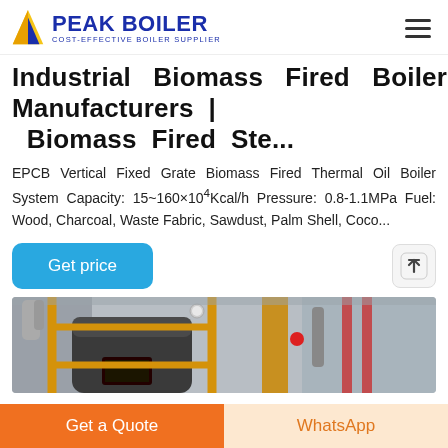PEAK BOILER COST-EFFECTIVE BOILER SUPPLIER
Industrial Biomass Fired Boiler Manufacturers | Biomass Fired Ste...
EPCB Vertical Fixed Grate Biomass Fired Thermal Oil Boiler System Capacity: 15~160×104Kcal/h Pressure: 0.8-1.1MPa Fuel: Wood, Charcoal, Waste Fabric, Sawdust, Palm Shell, Coco...
[Figure (photo): Industrial biomass fired boiler with yellow railings and industrial piping]
Get a Quote | WhatsApp